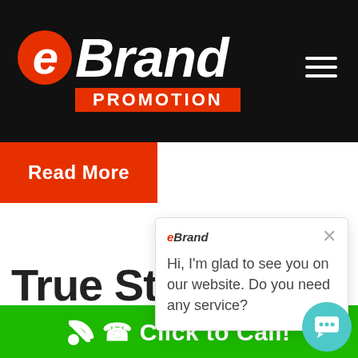[Figure (logo): eBrand Promotion logo on dark navbar with hamburger menu icon]
Read More
True Sto…
My Client's
[Figure (screenshot): Chat popup with eBrand logo, close button, and message: Hi, I'm glad to see you on our website. Do you need any service?]
Click to Call!